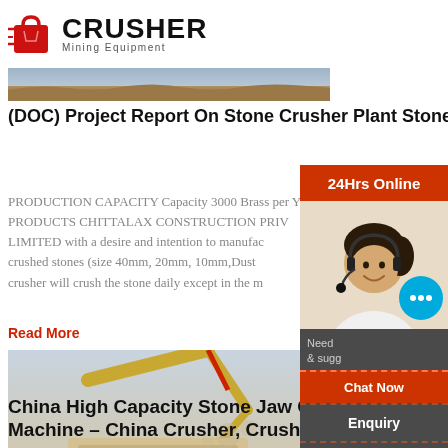[Figure (logo): Crusher Mining Equipment logo with shopping bag icon]
[Figure (photo): Thumbnail strip showing partial landscape/quarry scene]
(DOC) Project Report On Stone Crusher Plant Stone crusher plant
PRODUCTION CAPACITY Capacity 3000 Brass per Year Selling Price 2200 per Brass ABOUT THE COMPANY PRODUCTS CHITTALAX CONSTRUCTION PRIVATE LIMITED with a desire and intention to manufacture crushed stones (size 40mm, 20mm, 10mm,Dust) crusher will crush the stone daily except in the m
Read More
[Figure (photo): Construction site with jaw crusher machine and excavator in foreground]
China High Capacity Stone Jaw Crusher Machine – China Crusher, Crusher Machine
[Figure (other): 24Hrs Online sidebar with customer service photo, Chat Now button, Enquiry, and limingjlmofen@sina.com contact]